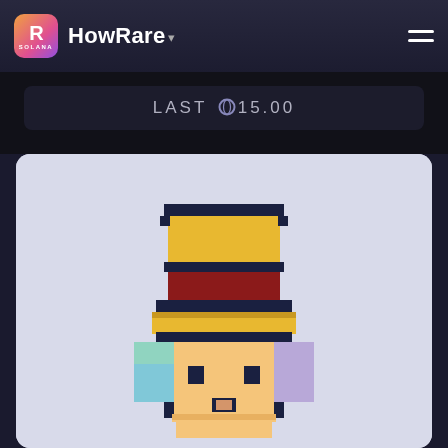[Figure (logo): HowRare.is Solana NFT rarity tool logo and navigation header with hamburger menu]
LAST ◎15.00
[Figure (illustration): Pixel art NFT character wearing a yellow straw hat with red band, with lavender/teal hair, on a light blue-gray background]